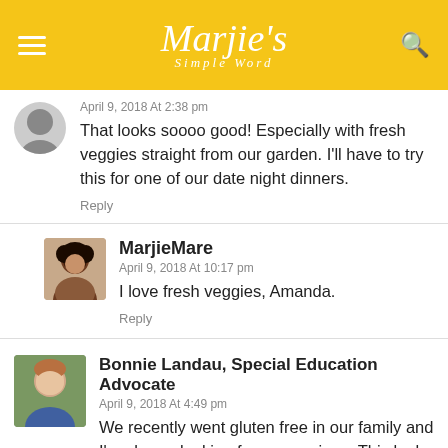Marjie's Simple Word
April 9, 2018 At 2:38 pm
That looks soooo good! Especially with fresh veggies straight from our garden. I'll have to try this for one of our date night dinners.
Reply
MarjieMare
April 9, 2018 At 10:17 pm
I love fresh veggies, Amanda.
Reply
Bonnie Landau, Special Education Advocate
April 9, 2018 At 4:49 pm
We recently went gluten free in our family and I'm always looking for new recipes. This looks simple